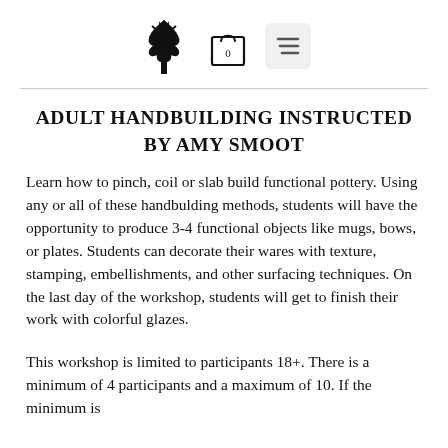[Tree logo icon] [Shopping bag icon with 0] [Menu/lines icon]
ADULT HANDBUILDING INSTRUCTED BY AMY SMOOT
Learn how to pinch, coil or slab build functional pottery. Using any or all of these handbulding methods, students will have the opportunity to produce 3-4 functional objects like mugs, bows, or plates. Students can decorate their wares with texture, stamping, embellishments, and other surfacing techniques. On the last day of the workshop, students will get to finish their work with colorful glazes.
This workshop is limited to participants 18+. There is a minimum of 4 participants and a maximum of 10. If the minimum is